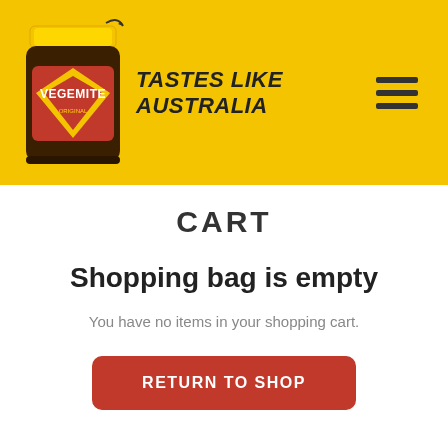[Figure (logo): Vegemite jar logo with 'Tastes Like Australia' tagline and hamburger menu icon on yellow background]
CART
Shopping bag is empty
You have no items in your shopping cart.
RETURN TO SHOP